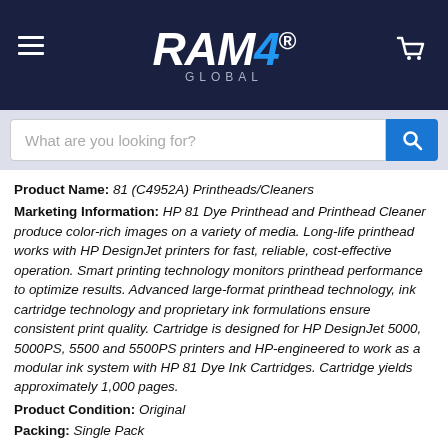RAM4 GLOBAL
Product Name: 81 (C4952A) Printheads/Cleaners
Marketing Information: HP 81 Dye Printhead and Printhead Cleaner produce color-rich images on a variety of media. Long-life printhead works with HP DesignJet printers for fast, reliable, cost-effective operation. Smart printing technology monitors printhead performance to optimize results. Advanced large-format printhead technology, ink cartridge technology and proprietary ink formulations ensure consistent print quality. Cartridge is designed for HP DesignJet 5000, 5000PS, 5500 and 5500PS printers and HP-engineered to work as a modular ink system with HP 81 Dye Ink Cartridges. Cartridge yields approximately 1,000 pages.
Product Condition: Original
Packing: Single Pack
Product Type: Printhead
Technical Information